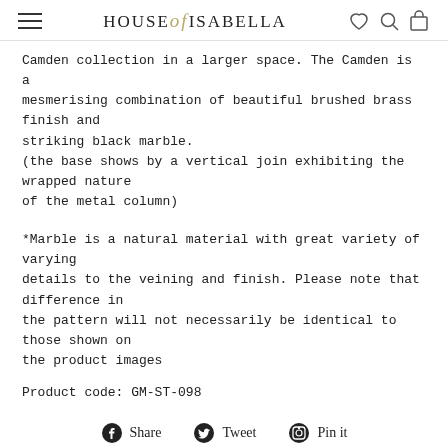HOUSE of ISABELLA
Camden collection in a larger space. The Camden is a mesmerising combination of beautiful brushed brass finish and striking black marble.
(the base shows by a vertical join exhibiting the wrapped nature of the metal column)
*Marble is a natural material with great variety of varying details to the veining and finish. Please note that difference in the pattern will not necessarily be identical to those shown on the product images
Product code: GM-ST-098
Share   Tweet   Pin it
DELIVERY